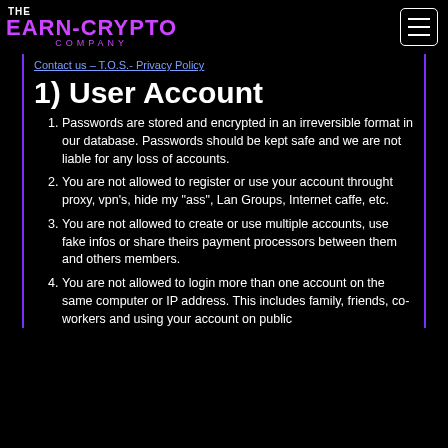THE EARN-CRYPTO COMPANY
Contact us – T.O.S.- Privacy Policy
1) User Account
Passwords are stored and encrypted in an irreversible format in our database. Passwords should be kept safe and we are not liable for any loss of accounts.
You are not allowed to register or use your account throught proxy, vpn's, hide my "ass", Lan Groups, Internet caffe, etc.
You are not allowed to create or use multiple accounts, use fake infos or share theirs payment processors between them and others members.
You are not allowed to login more than one account on the same computer or IP address. This includes family, friends, co-workers and using your account on public